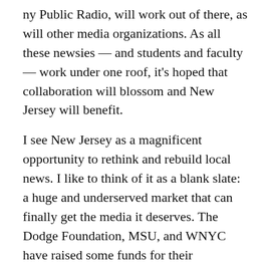ny Public Radio, will work out of there, as will other media organizations. As all these newsies — and students and faculty — work under one roof, it's hoped that collaboration will blossom and New Jersey will benefit.
I see New Jersey as a magnificent opportunity to rethink and rebuild local news. I like to think of it as a blank slate: a huge and underserved market that can finally get the media it deserves. The Dodge Foundation, MSU, and WNYC have raised some funds for their endeavors. There's more to be raised and much to be done. This is just the beginning.
I remember Baristanet's beginning as one model for what can be done to improve news locally. More than eight years ago, when I still ran NJ.com, I held a meetup in a New Jersey coffeehouse to try to get folks to blog about their towns on our service. Debbie Galant, who'd been writing about blogs before she wrote them, was there. She thought blogging about a town was a great idea. "But why would I